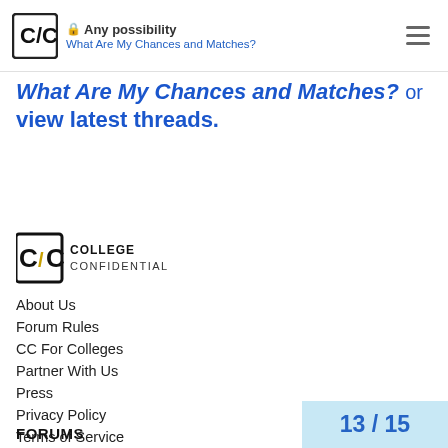Any possibility — What Are My Chances and Matches?
What Are My Chances and Matches? or view latest threads.
[Figure (logo): College Confidential logo with C/C letters and text]
About Us
Forum Rules
CC For Colleges
Partner With Us
Press
Privacy Policy
Terms of Service
FORUMS
13 / 15